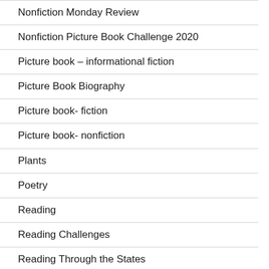Nonfiction Monday Review
Nonfiction Picture Book Challenge 2020
Picture book – informational fiction
Picture Book Biography
Picture book- fiction
Picture book- nonfiction
Plants
Poetry
Reading
Reading Challenges
Reading Through the States